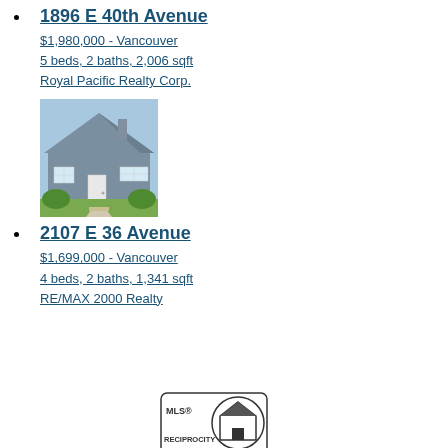1896 E 40th Avenue
$1,980,000 - Vancouver
5 beds, 2 baths, 2,006 sqft
Royal Pacific Realty Corp.
[Figure (photo): Exterior photo of a grey bungalow-style house with a white front door, shrubs, and a concrete walkway.]
2107 E 36 Avenue
$1,699,000 - Vancouver
4 beds, 2 baths, 1,341 sqft
RE/MAX 2000 Realty
[Figure (logo): MLS Reciprocity logo — circular house icon with MLS RECIPROCITY text.]